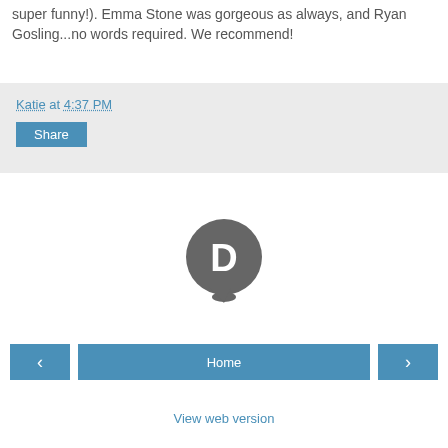super funny!). Emma Stone was gorgeous as always, and Ryan Gosling...no words required. We recommend!
Katie at 4:37 PM
Share
[Figure (logo): Disqus logo: circular speech bubble icon with letter D in grey]
Home
View web version